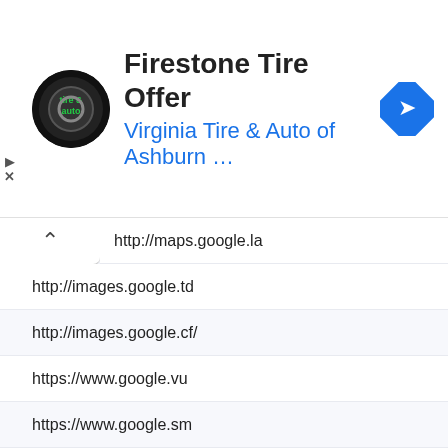[Figure (screenshot): Ad banner for Firestone Tire Offer from Virginia Tire & Auto of Ashburn with logo and navigation icon]
Firestone Tire Offer
Virginia Tire & Auto of Ashburn …
http://maps.google.la
http://images.google.td
http://images.google.cf/
https://www.google.vu
https://www.google.sm
https://images.google.com.sl
https://www.google.ms
https://www.google.gp
http://images.google.pn
https://www.google.gy
https://www.google.bf